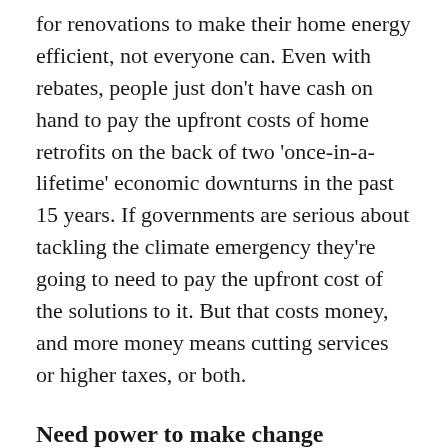for renovations to make their home energy efficient, not everyone can. Even with rebates, people just don't have cash on hand to pay the upfront costs of home retrofits on the back of two 'once-in-a-lifetime' economic downturns in the past 15 years. If governments are serious about tackling the climate emergency they're going to need to pay the upfront cost of the solutions to it. But that costs money, and more money means cutting services or higher taxes, or both.
Need power to make change
Our political leaders have fully embraced the market-based solutions theory because it doesn't require them to use government for this...